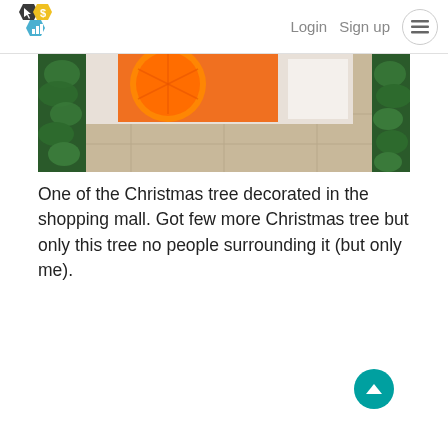Login  Sign up
[Figure (photo): Photo of a Christmas tree decorated in a shopping mall, with green foliage on sides and an orange citrus fruit advertisement banner in the background, tiled floor visible at bottom]
One of the Christmas tree decorated in the shopping mall. Got few more Christmas tree but only this tree no people surrounding it (but only me).
[Figure (photo): Photo of a decorated Christmas tree in a shopping mall with gold star on top, red and white ornaments, with escalator visible on left side and mall ceiling lights above, teal back-to-top button overlaid]